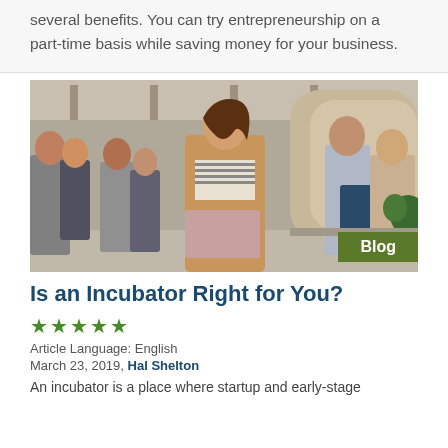several benefits. You can try entrepreneurship on a part-time basis while saving money for your business.
[Figure (photo): A woman holding a laptop in a busy co-working office space with several colleagues in the background]
Blog
Is an Incubator Right for You?
★★★★★
Article Language: English
March 23, 2019, Hal Shelton
An incubator is a place where startup and early-stage